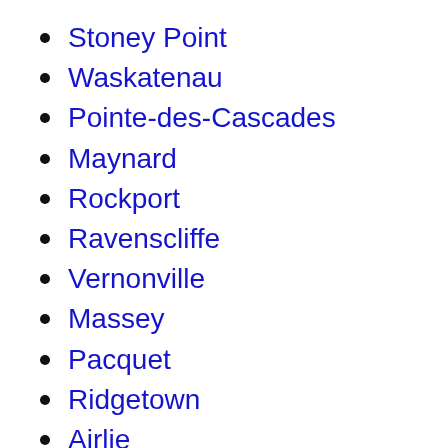Stoney Point
Waskatenau
Pointe-des-Cascades
Maynard
Rockport
Ravenscliffe
Vernonville
Massey
Pacquet
Ridgetown
Airlie